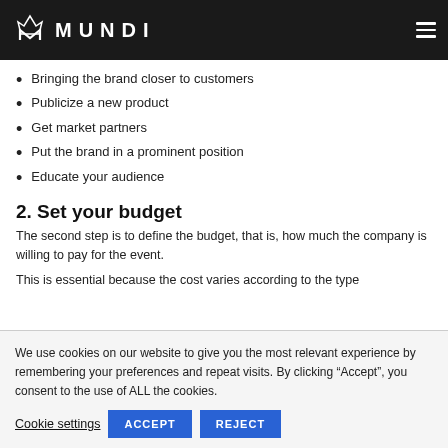MUNDI
Bringing the brand closer to customers
Publicize a new product
Get market partners
Put the brand in a prominent position
Educate your audience
2. Set your budget
The second step is to define the budget, that is, how much the company is willing to pay for the event.
This is essential because the cost varies according to the type
We use cookies on our website to give you the most relevant experience by remembering your preferences and repeat visits. By clicking “Accept”, you consent to the use of ALL the cookies.
Cookie settings  ACCEPT  REJECT